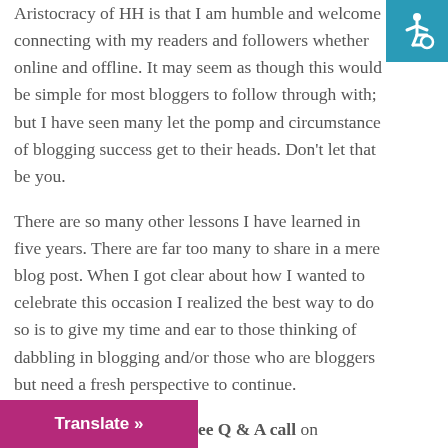Aristocracy of HH is that I am humble and welcome connecting with my readers and followers whether online and offline. It may seem as though this would be simple for most bloggers to follow through with; but I have seen many let the pomp and circumstance of blogging success get to their heads. Don't let that be you.
There are so many other lessons I have learned in five years. There are far too many to share in a mere blog post. When I got clear about how I wanted to celebrate this occasion I realized the best way to do so is to give my time and ear to those thinking of dabbling in blogging and/or those who are bloggers but need a fresh perspective to continue.
As such, I am holding a free Q & A call on September 13th to answer questions about blogging, business, and how becoming a blogger has transformed my
[Figure (illustration): Accessibility icon - white wheelchair symbol on teal/blue background, top right corner]
Translate »